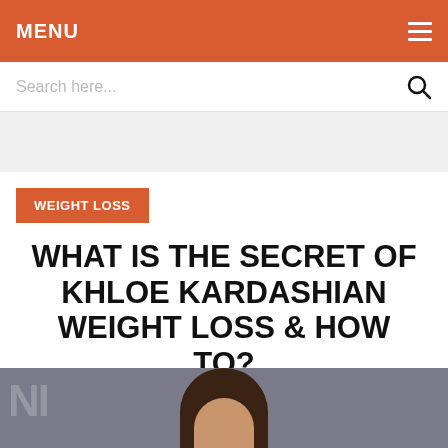MENU
Search here...
WEIGHT LOSS
WHAT IS THE SECRET OF KHLOE KARDASHIAN WEIGHT LOSS & HOW TO?
[Figure (photo): Partial photograph of a woman with dark brown hair, appears at the bottom of the page. Background features partial text/signage.]